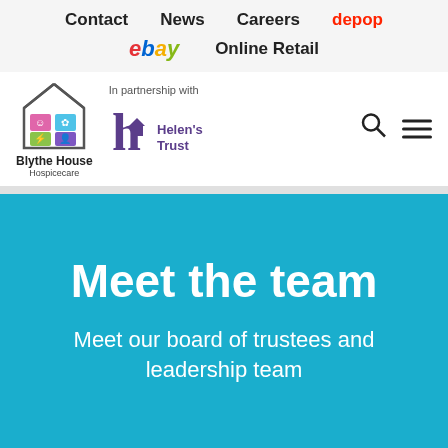Contact  News  Careers  depop  ebay  Online Retail
[Figure (logo): Blythe House Hospicecare logo with house icon and colorful grid squares]
In partnership with
[Figure (logo): Helen's Trust logo with purple 'h' and house icon]
Meet the team
Meet our board of trustees and leadership team